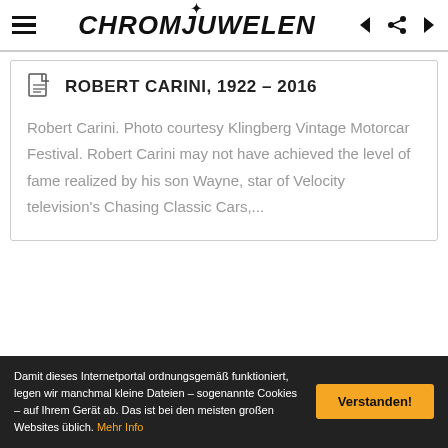CHROMJUWELEN
ROBERT CARINI, 1922 – 2016
Robert Carini. Photo courtesy Klingberg Vintage Motorcar Festival. Robert Carini may not have achieved the level of fame realized by his son Wayne, star of Velocity television's Chasing Classic Cars,...
Damit dieses Internetportal ordnungsgemäß funktioniert, legen wir manchmal kleine Dateien – sogenannte Cookies – auf Ihrem Gerät ab. Das ist bei den meisten großen Websites üblich. Mehr Info